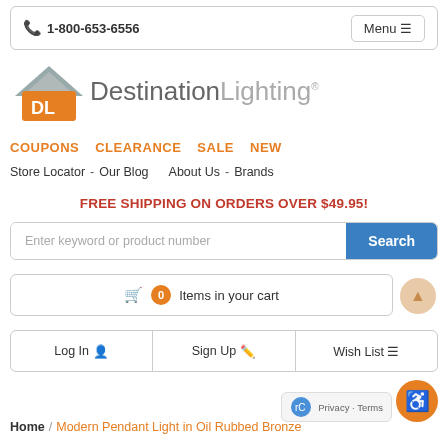📞 1-800-653-6556   Menu ≡
[Figure (logo): Destination Lighting logo with orange house/DL icon and gray text]
COUPONS   CLEARANCE   SALE   NEW
Store Locator - Our Blog   About Us - Brands
FREE SHIPPING ON ORDERS OVER $49.95!
Enter keyword or product number   Search
🛒 0 Items in your cart
Log In   Sign Up   Wish List
Home / Modern Pendant Light in Oil Rubbed Bronze